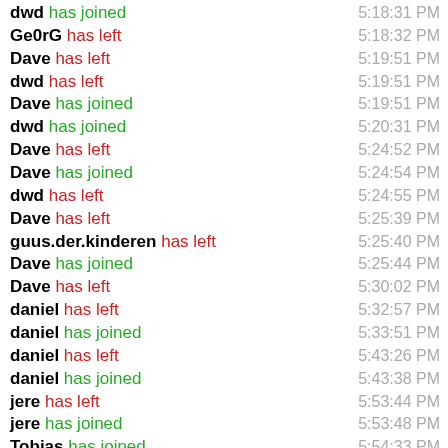dwd has joined 5:18:31 PM
Ge0rG has left 5:18:32 PM
Dave has left 5:19:51 PM
dwd has left 5:19:51 PM
Dave has joined 5:19:51 PM
dwd has joined 5:20:31 PM
Dave has left 5:24:52 PM
Dave has joined 5:24:54 PM
dwd has left 5:24:55 PM
Dave has left 5:25:39 PM
guus.der.kinderen has left 5:25:40 PM
Dave has joined 5:25:44 PM
Dave has left 5:30:02 PM
daniel has left 5:32:57 PM
daniel has joined 5:33:51 PM
daniel has left 5:43:26 PM
daniel has joined 5:43:38 PM
jere has left 5:53:44 PM
jere has joined 5:53:48 PM
Tobias has joined 5:54:33 PM
daniel has left 5:58:36 PM
guus.der.kinderen has left 6:02:34 PM
Tobias has joined 6:02:56 PM
guus.der.kinderen has left 6:07:53 PM
SamWhited has left 6:08:?? PM